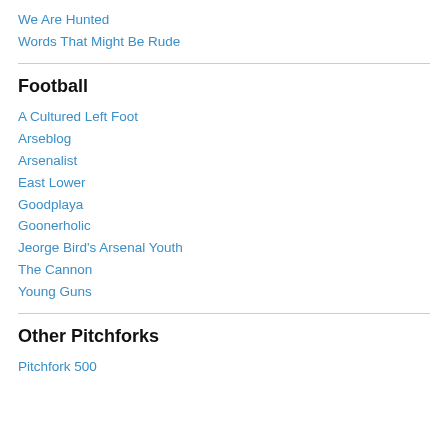We Are Hunted
Words That Might Be Rude
Football
A Cultured Left Foot
Arseblog
Arsenalist
East Lower
Goodplaya
Goonerholic
Jeorge Bird's Arsenal Youth
The Cannon
Young Guns
Other Pitchforks
Pitchfork 500